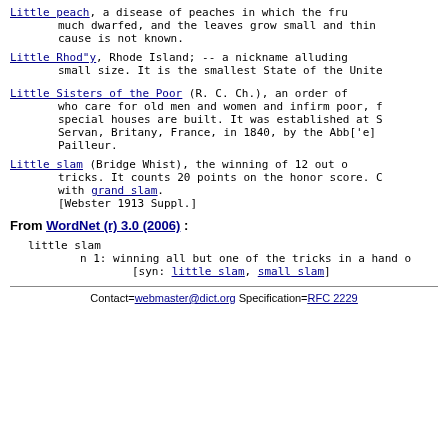Little peach, a disease of peaches in which the fruit is much dwarfed, and the leaves grow small and thin. The cause is not known.
Little Rhod"y, Rhode Island; -- a nickname alluding to its small size. It is the smallest State of the United States.
Little Sisters of the Poor (R. C. Ch.), an order of women who care for old men and women and infirm poor, for whom special houses are built. It was established at St. Servan, Britany, France, in 1840, by the Abb['e]e Pailleur.
Little slam (Bridge Whist), the winning of 12 out of 13 tricks. It counts 20 points on the honor score. Cf. with grand slam. [Webster 1913 Suppl.]
From WordNet (r) 3.0 (2006):
little slam
     n 1: winning all but one of the tricks in a hand of
          [syn: little slam, small slam]
Contact=webmaster@dict.org Specification=RFC 2229